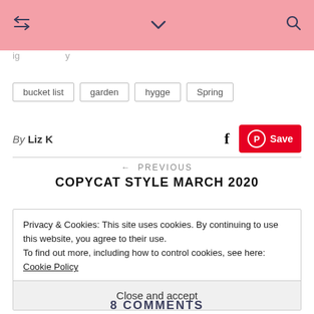← ∨ 🔍
ig   y
bucket list
garden
hygge
Spring
By Liz K
← PREVIOUS
COPYCAT STYLE MARCH 2020
Privacy & Cookies: This site uses cookies. By continuing to use this website, you agree to their use.
To find out more, including how to control cookies, see here: Cookie Policy
Close and accept
8 COMMENTS